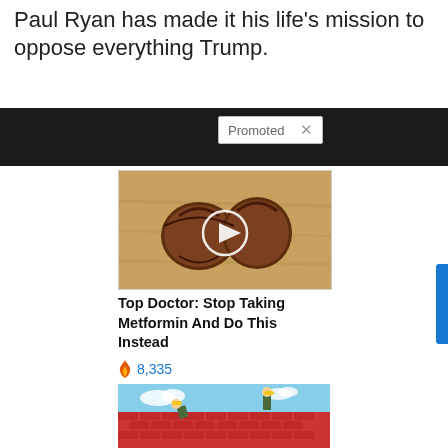Paul Ryan has made it his life's mission to oppose everything Trump.
[Figure (screenshot): Dark banner ad bar with 'Promoted X' badge overlay]
[Figure (photo): Close-up of macadamia nuts with a video play button overlay circle]
Top Doctor: Stop Taking Metformin And Do This Instead
🔥 8,335
[Figure (photo): Two roofers installing red tile roofing under a blue sky]
Forget Expensive Roofing (Do This Instead) - See Options
🔥 782